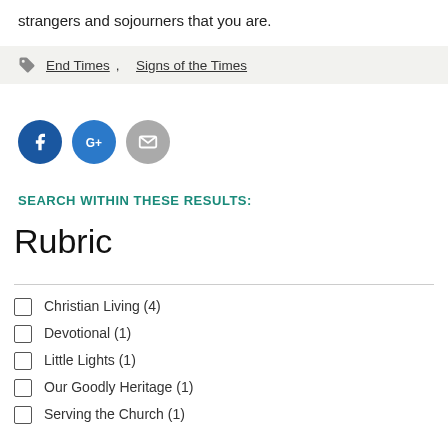strangers and sojourners that you are.
End Times, Signs of the Times
[Figure (infographic): Three social sharing icons: Facebook (blue circle with f), Google+ (blue circle with G+), Email (grey circle with envelope)]
SEARCH WITHIN THESE RESULTS:
Rubric
Christian Living (4)
Devotional (1)
Little Lights (1)
Our Goodly Heritage (1)
Serving the Church (1)